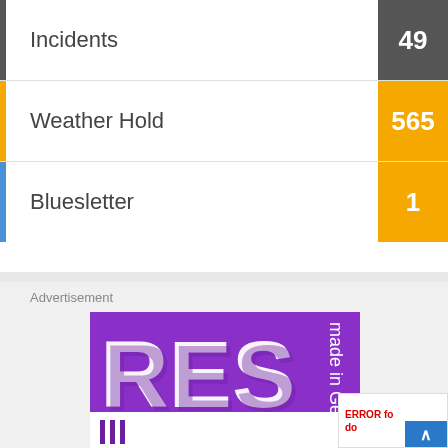Incidents
Weather Hold
Bluesletter
Advertisement
[Figure (logo): Purple advertisement banner with white letters 'RES' and 'made in Germany' text rotated, resembling a brand logo on purple background]